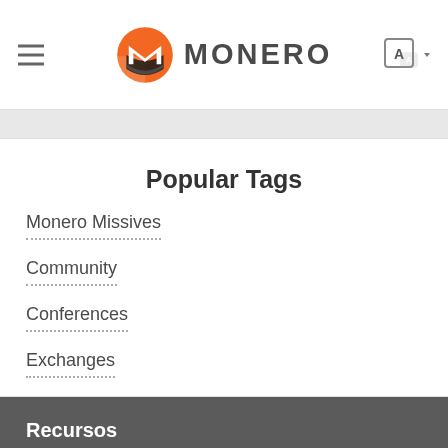MONERO
Popular Tags
Monero Missives
Community
Conferences
Exchanges
Recursos